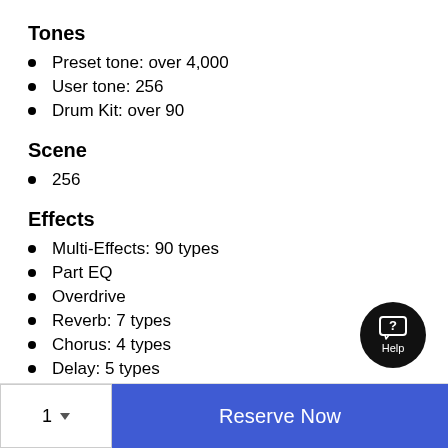Tones
Preset tone: over 4,000
User tone: 256
Drum Kit: over 90
Scene
256
Effects
Multi-Effects: 90 types
Part EQ
Overdrive
Reverb: 7 types
Chorus: 4 types
Delay: 5 types
[Figure (other): Help button - circular black button with chat bubble icon and Help label]
1 ▼   Reserve Now